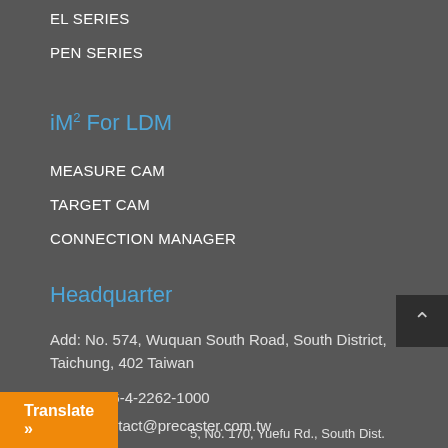EL SERIES
PEN SERIES
iM² For LDM
MEASURE CAM
TARGET CAM
CONNECTION MANAGER
Headquarter
Add: No. 574, Wuquan South Road, South District, Taichung, 402 Taiwan
TEL: +886-4-2262-1000
eMail: contact@precaster.com.tw
Translate »
5, No. 170, Yuefu Rd., South Dist.